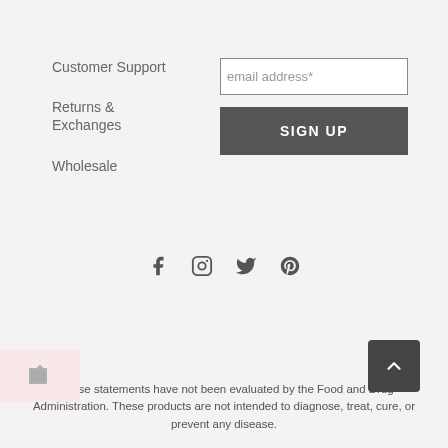Customer Support
Returns & Exchanges
Wholesale
[Figure (other): Email address input field with placeholder text 'email address*']
[Figure (other): SIGN UP button in dark gray]
[Figure (other): Social media icons: Facebook, Instagram, Twitter, Pinterest]
*These statements have not been evaluated by the Food and Drug Administration. These products are not intended to diagnose, treat, cure, or prevent any disease.